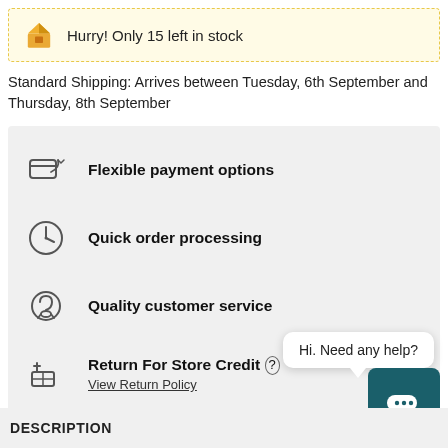Hurry! Only 15 left in stock
Standard Shipping: Arrives between Tuesday, 6th September and Thursday, 8th September
Flexible payment options
Quick order processing
Quality customer service
Return For Store Credit ? View Return Policy
Hi. Need any help?
DESCRIPTION